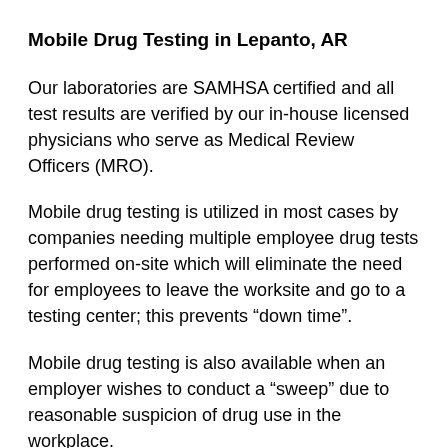Mobile Drug Testing in Lepanto, AR
Our laboratories are SAMHSA certified and all test results are verified by our in-house licensed physicians who serve as Medical Review Officers (MRO).
Mobile drug testing is utilized in most cases by companies needing multiple employee drug tests performed on-site which will eliminate the need for employees to leave the worksite and go to a testing center; this prevents “down time”.
Mobile drug testing is also available when an employer wishes to conduct a “sweep” due to reasonable suspicion of drug use in the workplace.
Mobile drug testing services are also utilized for post-accident situations for DOT and NON-DOT drug and alcohol testing sites.